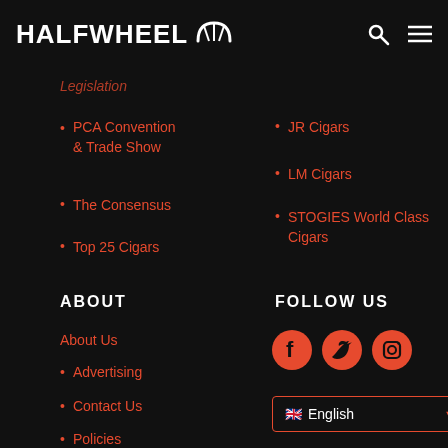HALFWHEEL
Legislation
PCA Convention & Trade Show
The Consensus
Top 25 Cigars
JR Cigars
LM Cigars
STOGIES World Class Cigars
ABOUT
About Us
Advertising
Contact Us
Policies
RSS
FOLLOW US
[Figure (other): Social media icons: Facebook, Twitter, Instagram in orange/red]
English (language selector dropdown)
SUBSCRIBE